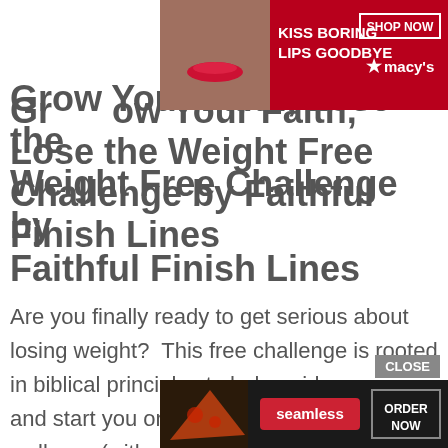[Figure (screenshot): Advertisement banner at top: red background with 'KISS BORING LIPS GOODBYE' text, woman's face with red lipstick, 'SHOP NOW' button and Macy's logo]
Grow Your Faith, Lose the Weight Free Challenge by Faithful Finish Lines
Are you finally ready to get serious about losing weight?  This free challenge is rooted in biblical principles to help guide your way and start you on your journey towards wellness (without fad diets and by eating real food!)
[Figure (screenshot): Bottom advertisement: dark background with pizza image, Seamless logo in red, and 'ORDER NOW' button. CLOSE button above.]